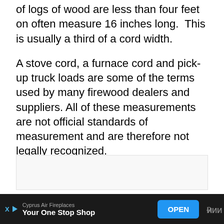of logs of wood are less than four feet on, often measure 16 inches long.  This is usually a third of a cord width.
A stove cord, a furnace cord and pick-up truck loads are some of the terms used by many firewood dealers and suppliers. All of these measurements are not official standards of measurement and are therefore not legally recognized.
[Figure (other): Empty light gray box placeholder]
Cyprus Air Fireplaces Your One Stop Shop OPEN